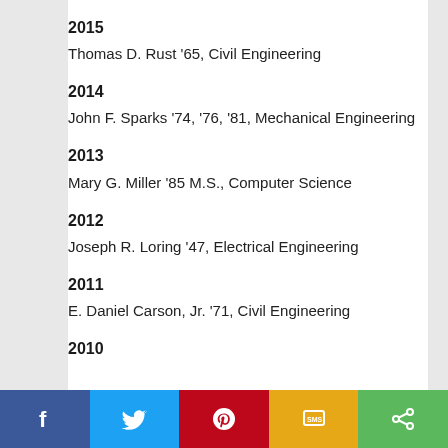2015
Thomas D. Rust '65, Civil Engineering
2014
John F. Sparks '74, '76, '81, Mechanical Engineering
2013
Mary G. Miller '85 M.S., Computer Science
2012
Joseph R. Loring '47, Electrical Engineering
2011
E. Daniel Carson, Jr. '71, Civil Engineering
2010
[Figure (infographic): Social media sharing bar with Facebook, Twitter, Pinterest, SMS, and Share buttons]